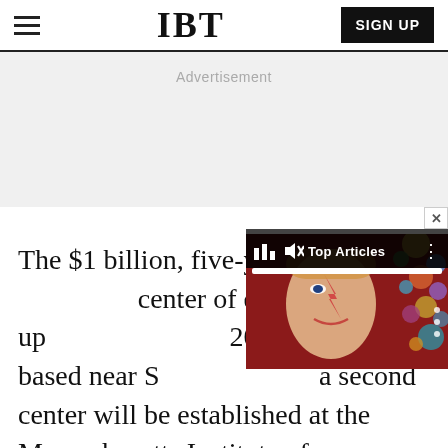IBT — SIGN UP
[Figure (other): Advertisement placeholder banner area (gray background)]
[Figure (screenshot): Floating video popup overlay showing 'Top Articles' bar with a colorful music/celebrity thumbnail image and a close (X) button]
The $1 billion, five-year in[vestment includes a] center of excellence set up [with more than] 200 engineers based near S[ingapore, and] a second center will be established at the Massachusetts Institute of Technology (MIT) in